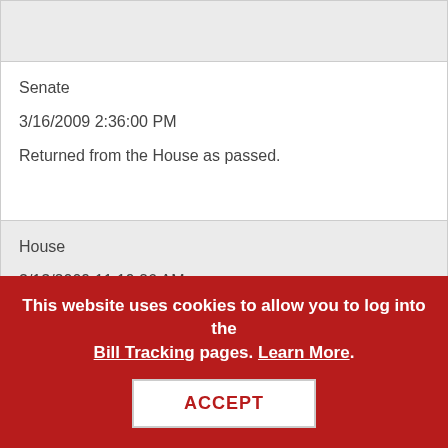| Chamber | Date/Time | Action |
| --- | --- | --- |
| Senate | 3/16/2009 2:36:00 PM | Returned from the House as passed. |
| House | 3/13/2009 11:19:26 AM | Returned To the Senate as passed. |
| House | 3/13/2009 11:18:38 AM |  |
This website uses cookies to allow you to log into the Bill Tracking pages. Learn More. ACCEPT